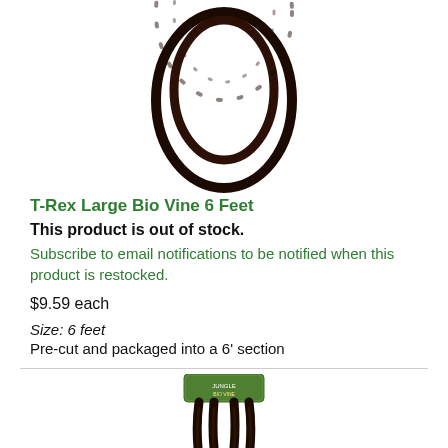[Figure (photo): Top portion of a dark brown rope-like bio vine coiled/looped, shown against white background, product image cropped at top]
T-Rex Large Bio Vine 6 Feet
This product is out of stock.
Subscribe to email notifications to be notified when this product is restocked.
$9.59 each
Size: 6 feet
Pre-cut and packaged into a 6' section
[Figure (photo): Second product image showing packaged bio vine with package label at top and dark brown vine strands hanging down, partially visible]